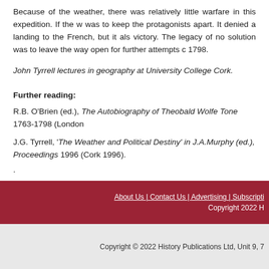Because of the weather, there was relatively little warfare in this expedition. If the w was to keep the protagonists apart. It denied a landing to the French, but it als victory. The legacy of no solution was to leave the way open for further attempts c 1798.
John Tyrrell lectures in geography at University College Cork.
Further reading:
R.B. O'Brien (ed.), The Autobiography of Theobald Wolfe Tone 1763-1798 (London
J.G. Tyrrell, 'The Weather and Political Destiny' in J.A.Murphy (ed.), Proceedings 1996 (Cork 1996).
.
About Us | Contact Us | Advertising | Subscripti Copyright 2022 H
Copyright © 2022 History Publications Ltd, Unit 9, 7